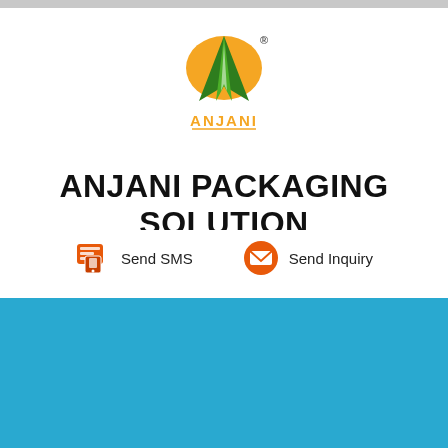[Figure (logo): Anjani logo: green road/arrow shape with orange semicircle top, and ANJANI text in orange below]
ANJANI PACKAGING SOLUTION
Send SMS
Send Inquiry
MENU
Search Product/Service...